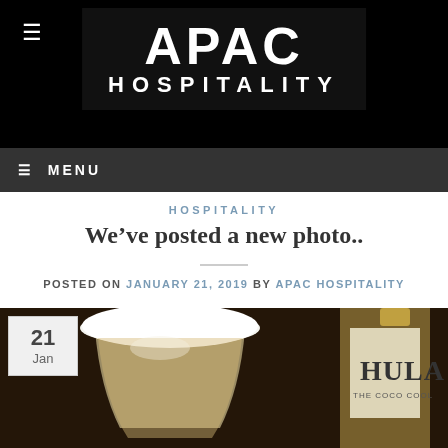APAC HOSPITALITY
≡ MENU
HOSPITALITY
We've posted a new photo..
POSTED ON JANUARY 21, 2019 BY APAC HOSPITALITY
[Figure (photo): A glass with a white frothy top drink next to a bottle labeled HULA THE COCO COOL, on a dark background. A date badge showing 21 Jan is overlaid in the top left corner.]